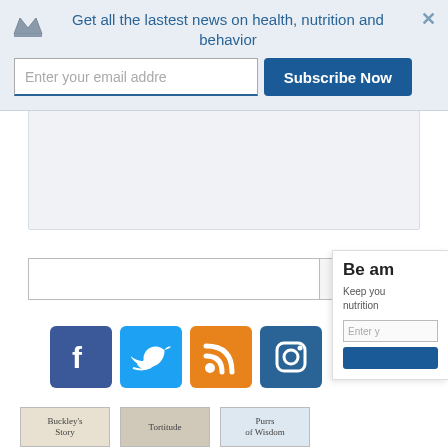Get all the lastest news on health, nutrition and behavior
[Figure (screenshot): Email subscription input field with placeholder 'Enter your email addre' and a blue 'Subscribe Now' button]
[Figure (screenshot): Gray content area below the subscription banner]
[Figure (screenshot): Search input box with Search button and a partial side panel showing 'Be am' heading and newsletter sign-up]
[Figure (screenshot): Social media icons: Facebook (blue), Twitter (light blue), RSS feed (orange), Instagram (dark blue)]
[Figure (screenshot): Three book thumbnails: Buckley's Story, Tortitude, Purrs of Wisdom]